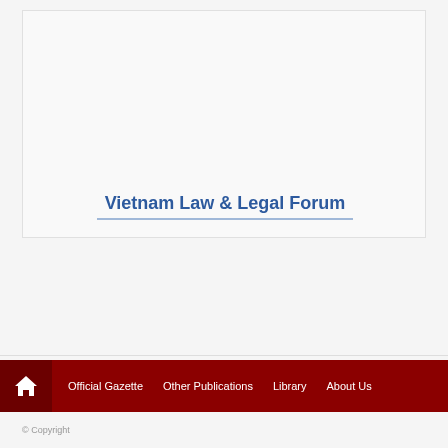Vietnam Law & Legal Forum
© Copyright
Official Gazette | Other Publications | Library | About Us